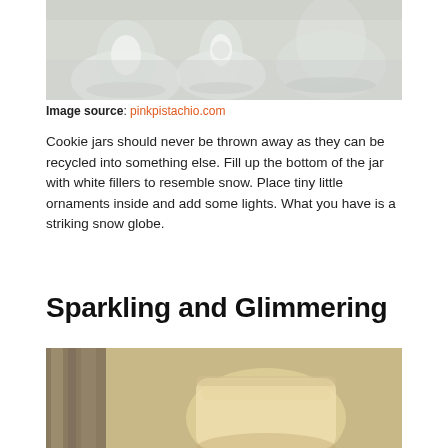[Figure (photo): Photo of glass cookie jars/goblets on a white surface, appearing translucent and decorative]
Image source: pinkpistachio.com
Cookie jars should never be thrown away as they can be recycled into something else. Fill up the bottom of the jar with white fillers to resemble snow. Place tiny little ornaments inside and add some lights. What you have is a striking snow globe.
Sparkling and Glimmering
[Figure (photo): Photo showing a warm glowing candle or lamp with wooden frame element on the left, warm cream/yellow tones]